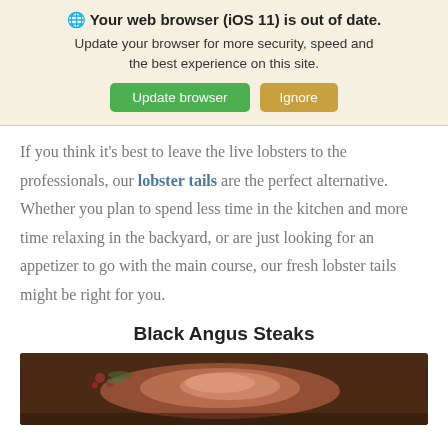🌐 Your web browser (iOS 11) is out of date. Update your browser for more security, speed and the best experience on this site. Update browser | Ignore
If you think it's best to leave the live lobsters to the professionals, our lobster tails are the perfect alternative. Whether you plan to spend less time in the kitchen and more time relaxing in the backyard, or are just looking for an appetizer to go with the main course, our fresh lobster tails might be right for you.
Black Angus Steaks
[Figure (photo): Photo of a raw steak (Black Angus) on a dark wooden surface with herbs and peppercorns]